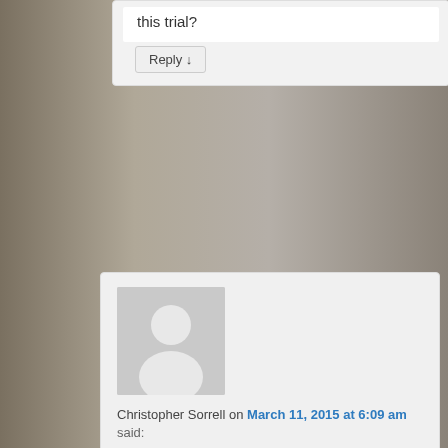this trial?
Reply ↓
Christopher Sorrell on March 11, 2015 at 6:09 am
said:
I was wondering and if anyone has a comment to enlighten it would be greatly appreciated. As to the Executive Agreement between our Queen and the American President. I was watching the News, if you can call it that maybe Tabloid News on cable. Presently, American President Mr. Obama is arranging a "deal" with the Iranians that will curtail their nuclear plans. Now, 27 (37?) Senators have